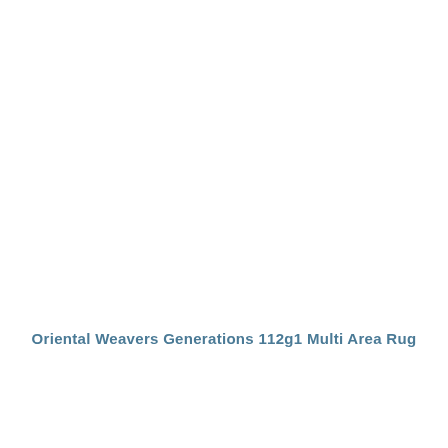Oriental Weavers Generations 112g1 Multi Area Rug